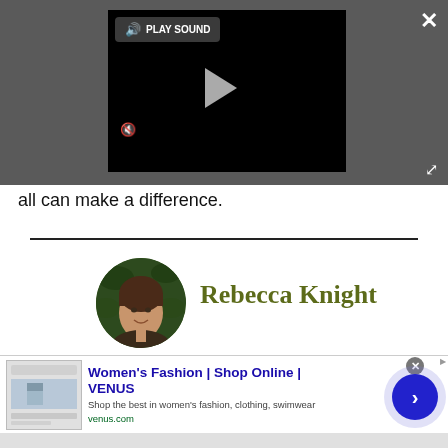[Figure (screenshot): Video player interface on dark gray background with 'PLAY SOUND' button, play triangle button, mute icon, close X button, and expand icon]
all can make a difference.
[Figure (photo): Circular profile photo of Rebecca Knight, a woman smiling, with green foliage background]
Rebecca Knight
[Figure (screenshot): Advertisement banner: Women's Fashion | Shop Online | VENUS. Shop the best in women's fashion, clothing, swimwear. venus.com]